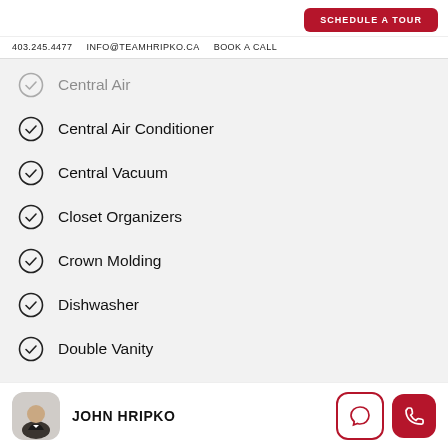SCHEDULE A TOUR  |  403.245.4477  INFO@TEAMHRIPKO.CA  BOOK A CALL
Central Air
Central Air Conditioner
Central Vacuum
Closet Organizers
Crown Molding
Dishwasher
Double Vanity
JOHN HRIPKO